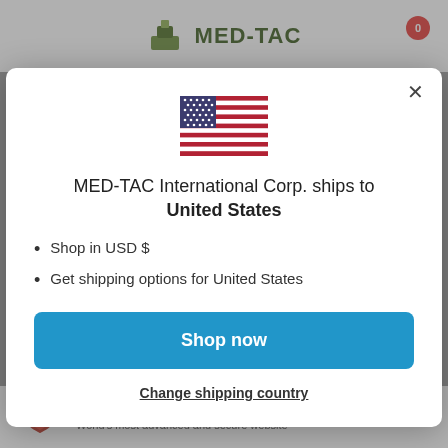[Figure (screenshot): Website header with MED-TAC logo and cart icon with badge showing 0]
[Figure (illustration): US flag emoji/icon centered in modal]
MED-TAC International Corp. ships to United States
Shop in USD $
Get shipping options for United States
Shop now
Change shipping country
Safe& Secure Checkout
World's most advanced and secure website